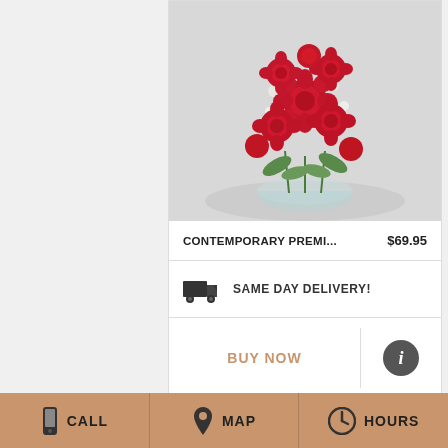[Figure (photo): Red roses arrangement in a glass bowl vase with white filler flowers and greenery]
CONTEMPORARY PREMI...    $69.95
SAME DAY DELIVERY!
BUY NOW
[Figure (photo): Colorful bouquet with red, orange, and yellow roses with green accents]
CALL    MAP    HOURS